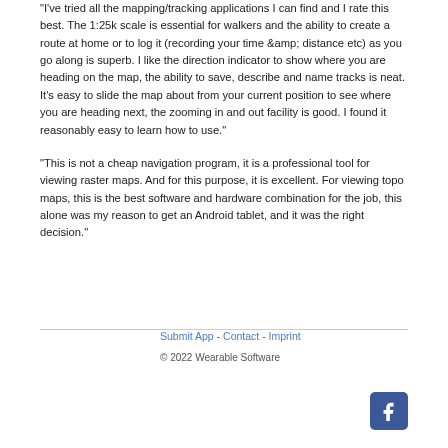"I've tried all the mapping/tracking applications I can find and I rate this best. The 1:25k scale is essential for walkers and the ability to create a route at home or to log it (recording your time &amp; distance etc) as you go along is superb. I like the direction indicator to show where you are heading on the map, the ability to save, describe and name tracks is neat. It's easy to slide the map about from your current position to see where you are heading next, the zooming in and out facility is good. I found it reasonably easy to learn how to use."
"This is not a cheap navigation program, it is a professional tool for viewing raster maps. And for this purpose, it is excellent. For viewing topo maps, this is the best software and hardware combination for the job, this alone was my reason to get an Android tablet, and it was the right decision."
Submit App - Contact - Imprint
© 2022 Wearable Software